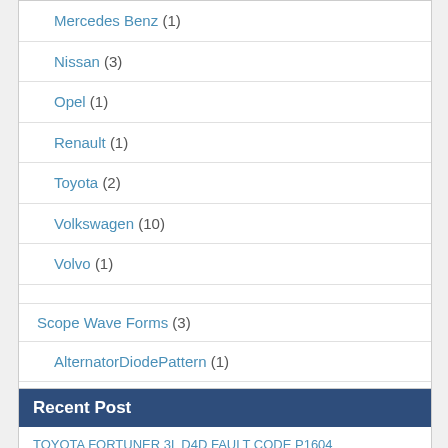Mercedes Benz (1)
Nissan (3)
Opel (1)
Renault (1)
Toyota (2)
Volkswagen (10)
Volvo (1)
Scope Wave Forms (3)
AlternatorDiodePattern (1)
Chevrolet (1)
Mercedes (1)
Recent Post
TOYOTA FORTUNER 3L D4D FAULT CODE P1604 STARTABILITY